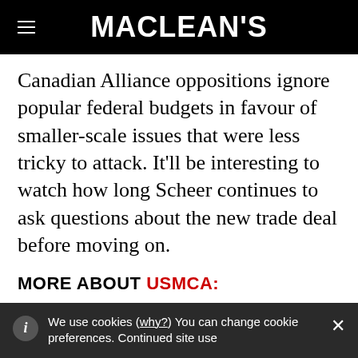MACLEAN'S
Canadian Alliance oppositions ignore popular federal budgets in favour of smaller-scale issues that were less tricky to attack. It'll be interesting to watch how long Scheer continues to ask questions about the new trade deal before moving on.
MORE ABOUT USMCA:
The USMCA keeps Canada in America's thrall
We use cookies (why?) You can change cookie preferences. Continued site use